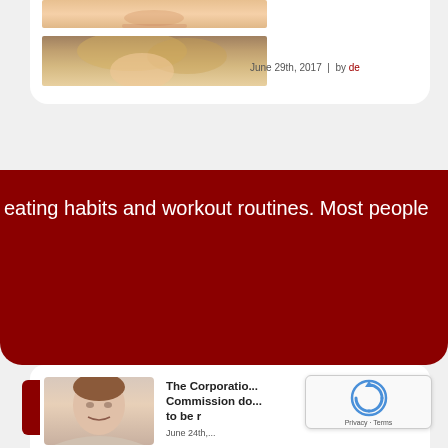[Figure (photo): Partial photo of a smiling person, cropped top portion showing face]
[Figure (photo): Partial photo of a blonde woman, mid-section crop]
June 29th, 2017 | by de...
eating habits and workout routines. Most people
[Figure (photo): Photo of a young man with brown hair smiling]
The Corporation Commission do... to be r...
June 24th,...